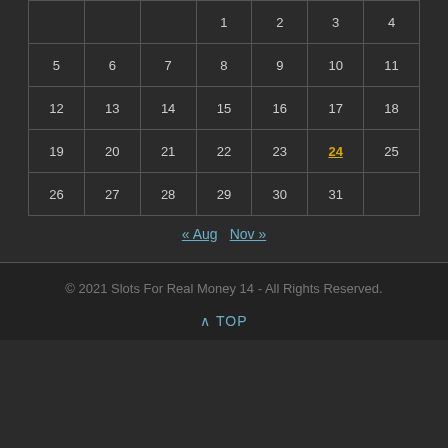|  |  |  | 1 | 2 | 3 | 4 |
| 5 | 6 | 7 | 8 | 9 | 10 | 11 |
| 12 | 13 | 14 | 15 | 16 | 17 | 18 |
| 19 | 20 | 21 | 22 | 23 | 24 | 25 |
| 26 | 27 | 28 | 29 | 30 | 31 |  |
« Aug  Nov »
© 2021 Slots For Real Money 14 - All Rights Reserved.
^ TOP